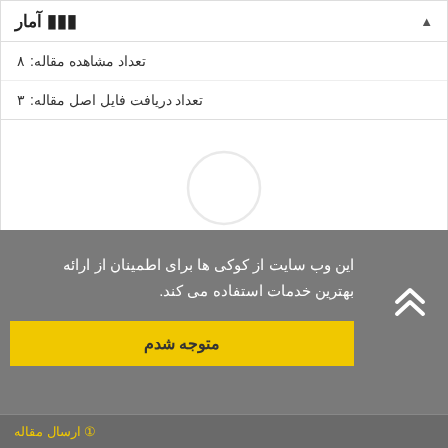آمار
تعداد مشاهده مقاله: ۸
تعداد دریافت فایل اصل مقاله: ۳
[Figure (other): Faint circle icon in the middle white area]
این وب سایت از کوکی ها برای اطمینان از ارائه بهترین خدمات استفاده می کند.
متوجه شدم
ارسال مقاله